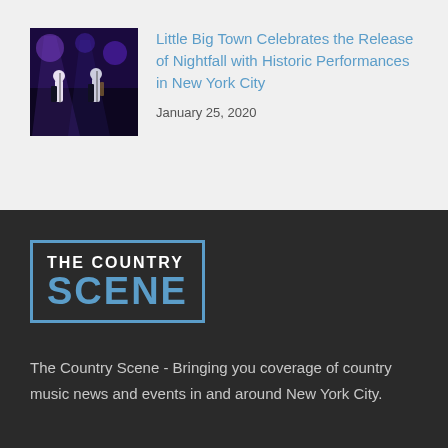[Figure (photo): Concert photo showing performers on stage with purple stage lighting]
Little Big Town Celebrates the Release of Nightfall with Historic Performances in New York City
January 25, 2020
[Figure (logo): The Country Scene logo — white text THE COUNTRY on top, large blue SCENE below, inside a blue rectangular border, on dark background]
The Country Scene - Bringing you coverage of country music news and events in and around New York City.